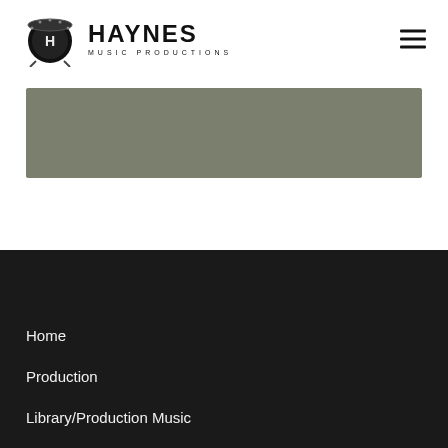[Figure (logo): Haynes Music Productions logo with drum bass icon and brand name text]
[Figure (other): Gray/olive colored rectangular banner image]
Home
Production
Library/Production Music